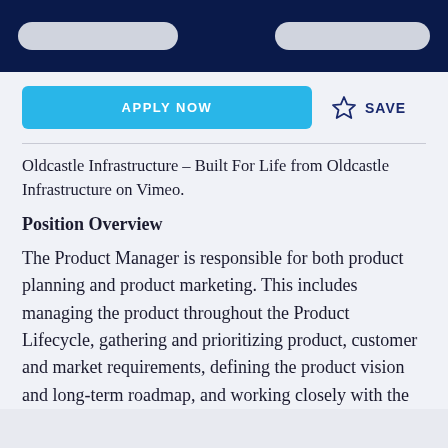APPLY NOW
SAVE
Oldcastle Infrastructure – Built For Life from Oldcastle Infrastructure on Vimeo.
Position Overview
The Product Manager is responsible for both product planning and product marketing. This includes managing the product throughout the Product Lifecycle, gathering and prioritizing product, customer and market requirements, defining the product vision and long-term roadmap, and working closely with the